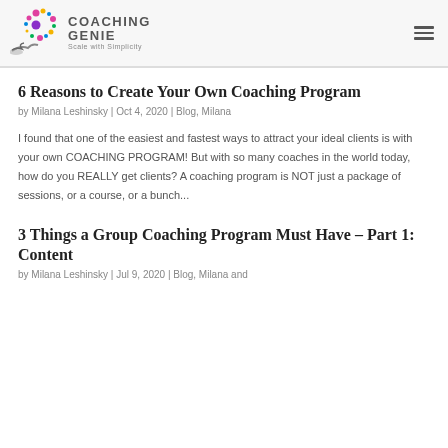COACHING GENIE — Scale with Simplicity
6 Reasons to Create Your Own Coaching Program
by Milana Leshinsky | Oct 4, 2020 | Blog, Milana
I found that one of the easiest and fastest ways to attract your ideal clients is with your own COACHING PROGRAM! But with so many coaches in the world today, how do you REALLY get clients? A coaching program is NOT just a package of sessions, or a course, or a bunch...
3 Things a Group Coaching Program Must Have – Part 1: Content
by Milana Leshinsky | Jul 9, 2020 | Blog, Milana and